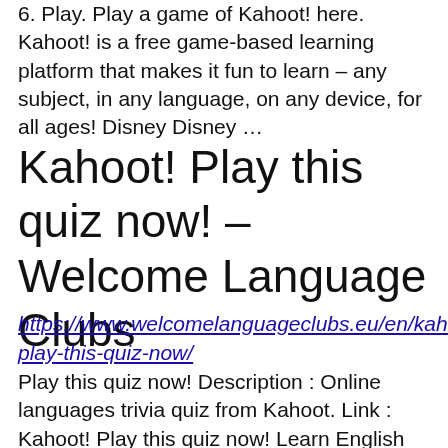6. Play. Play a game of Kahoot! here. Kahoot! is a free game-based learning platform that makes it fun to learn – any subject, in any language, on any device, for all ages! Disney Disney …
Kahoot! Play this quiz now! – Welcome Language Clubs
https://www.welcomelanguageclubs.eu/en/kahoot-play-this-quiz-now/
Play this quiz now! Description : Online languages trivia quiz from Kahoot. Link : Kahoot! Play this quiz now! Learn English Free. European Day of Languages: 10